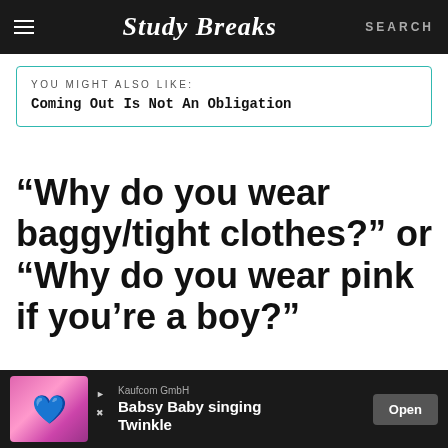Study Breaks — SEARCH
YOU MIGHT ALSO LIKE:
Coming Out Is Not An Obligation
“Why do you wear baggy/tight clothes?” or “Why do you wear pink if you’re a boy?”
[Figure (other): Advertisement banner: Kaufcom GmbH, Babsy Baby singing Twinkle, with Open button]
Kaufcom GmbH — Babsy Baby singing Twinkle — Open